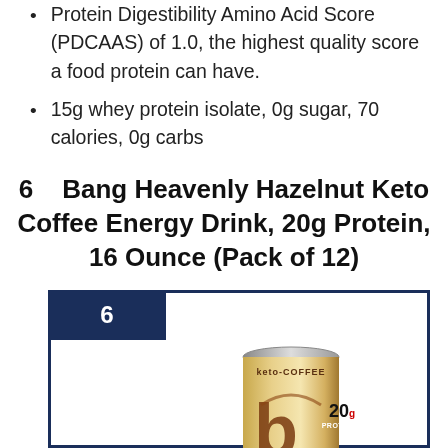Protein Digestibility Amino Acid Score (PDCAAS) of 1.0, the highest quality score a food protein can have.
15g whey protein isolate, 0g sugar, 70 calories, 0g carbs
6   Bang Heavenly Hazelnut Keto Coffee Energy Drink, 20g Protein, 16 Ounce (Pack of 12)
[Figure (photo): Bang Keto Coffee Energy Drink can with hazelnut flavor branding, gold/cream colored can with brown 'b' logo and '20g PROTEIN' text, inside a dark navy bordered box with a '6' badge in the upper left corner.]